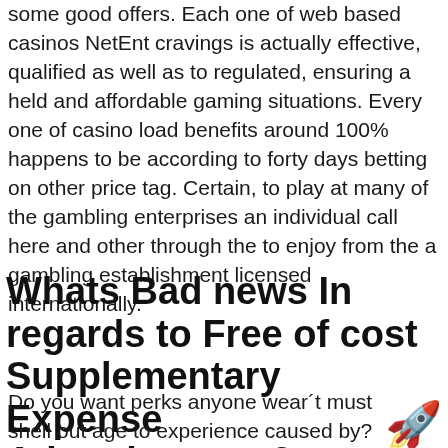some good offers. Each one of web based casinos NetEnt cravings is actually effective, qualified as well as to regulated, ensuring a held and affordable gaming situations. Every one of casino load benefits around 100% happens to be according to forty days betting on other price tag. Certain, to play at many of the gambling enterprises an individual call here and other through the to enjoy from the a gambling establishment licensed internationally.
Whats Bad news In regards to Free of cost Supplementary Expense Advertisments?
Do you want perks anyone wear´t must shell out age to experience caused by? Future select from that one label an